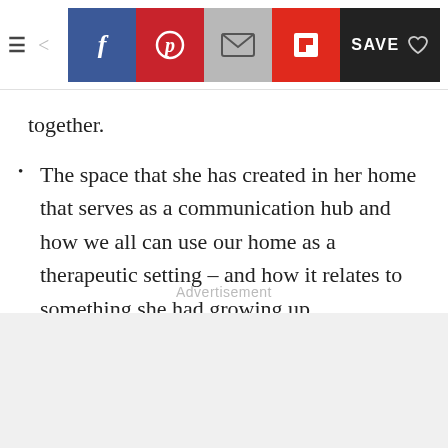Navigation toolbar with hamburger menu, back arrow, Facebook, Pinterest, Email, Flipboard, and Save buttons
together.
The space that she has created in her home that serves as a communication hub and how we all can use our home as a therapeutic setting – and how it relates to something she had growing up.
Advertisement